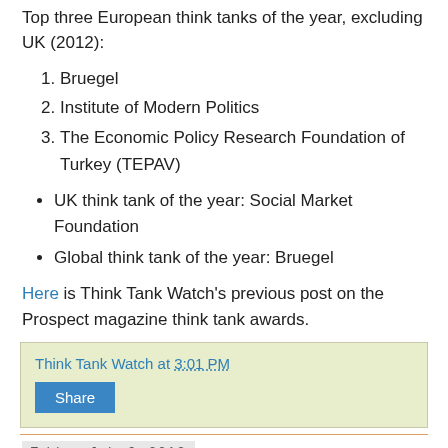Top three European think tanks of the year, excluding UK (2012):
1. Bruegel
2. Institute of Modern Politics
3. The Economic Policy Research Foundation of Turkey (TEPAV)
UK think tank of the year: Social Market Foundation
Global think tank of the year: Bruegel
Here is Think Tank Watch's previous post on the Prospect magazine think tank awards.
Think Tank Watch at 3:01 PM
Share
Friday, July 6, 2012
New Book: The Anti-Think Tanks